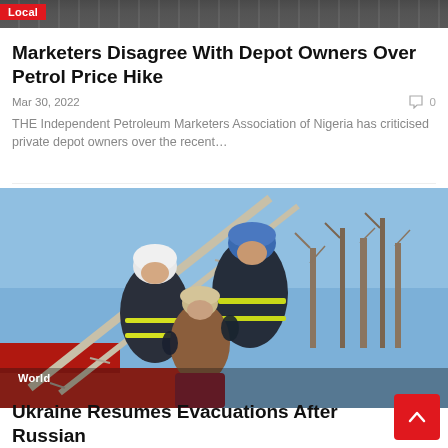[Figure (photo): Top strip showing dark industrial/urban scene, partially visible]
Local
Marketers Disagree With Depot Owners Over Petrol Price Hike
Mar 30, 2022   0
THE Independent Petroleum Marketers Association of Nigeria has criticised private depot owners over the recent…
[Figure (photo): Two firefighters in dark uniforms with yellow stripes and helmets (one white, one blue) on a fire truck ladder, helping carry a person (wearing beige hat and brown jacket) against a blue sky background with bare trees]
World
Ukraine Resumes Evacuations After Russian